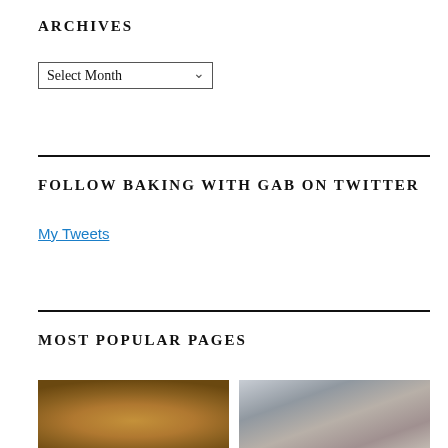ARCHIVES
Select Month
FOLLOW BAKING WITH GAB ON TWITTER
My Tweets
MOST POPULAR PAGES
[Figure (photo): Two food/baking photos side by side: left shows a wooden bowl with bread dough, right shows metal baking equipment with food.]